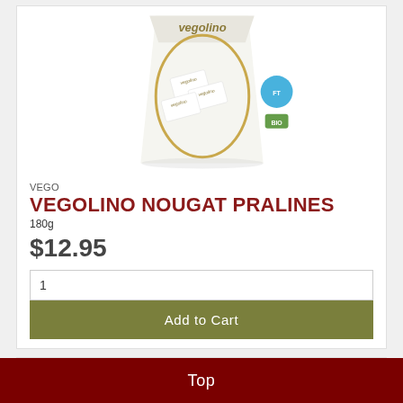[Figure (photo): White bag of Vegolino Nougat Pralines by VEGO with gold leaf design and Fairtrade/organic certification logos]
VEGO
VEGOLINO NOUGAT PRALINES
180g
$12.95
1
Add to Cart
2DIE4
Top